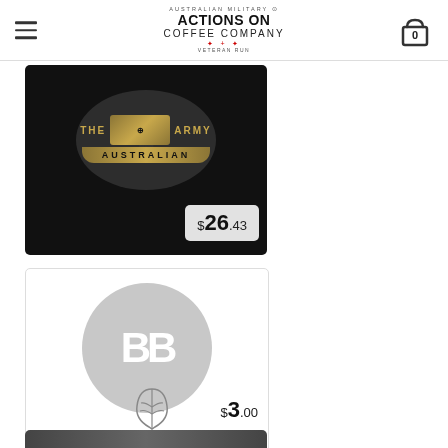Actions On Coffee Company — Navigation header with hamburger menu and cart
[Figure (photo): Product card showing Australian Army badge on black background with price tag $26.43]
[Figure (photo): Product card showing BB placeholder circle logo with leaf icon on white background, price $3.00, labeled MATURE CONTENT]
[Figure (photo): Partial product card at bottom, dark image partially visible]